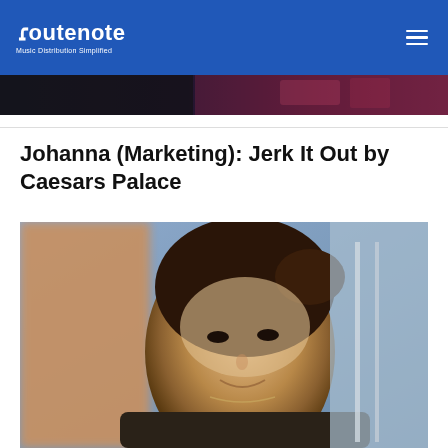routenote — Music Distribution Simplified
[Figure (photo): Banner strip showing partial concert/event photo with dark and purple-red tones]
Johanna (Marketing): Jerk It Out by Caesars Palace
[Figure (photo): Portrait photo of a young woman with dark hair pulled back, smiling, wearing a dark sweater and necklace, photographed indoors]